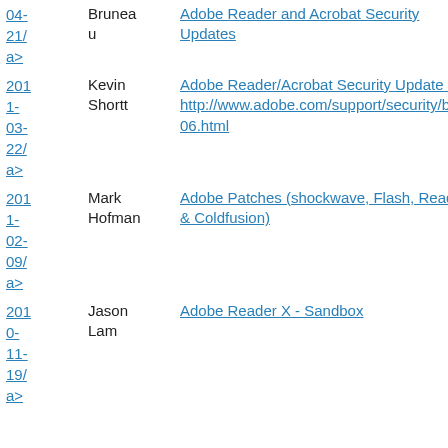| Date | Author | Title |
| --- | --- | --- |
| 2011-04-21/a> | Bruneau | Adobe Reader and Acrobat Security Updates |
| 2011-03-22/a> | Kevin Shortt | Adobe Reader/Acrobat Security Update - http://www.adobe.com/support/security/bulletins/apsb11-06.html |
| 2011-02-09/a> | Mark Hofman | Adobe Patches (shockwave, Flash, Reader & Coldfusion) |
| 2010-11-19/a> | Jason Lam | Adobe Reader X - Sandbox |